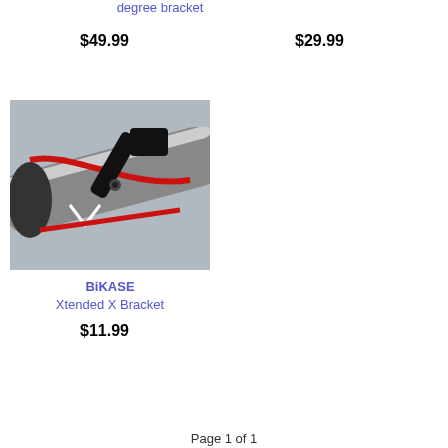degree bracket
$49.99
$29.99
[Figure (photo): Close-up photo of a black bicycle handlebar bracket (Xtended X Bracket) mounted on a bike handlebar with red cable visible]
BiKASE Xtended X Bracket
$11.99
Page 1 of 1